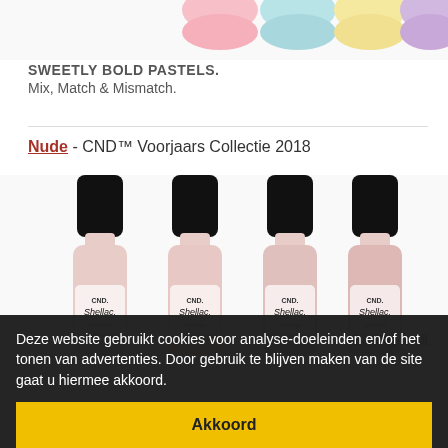[Figure (photo): Pastel colored CND Shellac nail polish bottles tops visible at the top of the page - pink, blue, yellow, purple]
SWEETLY BOLD PASTELS.
Mix, Match & Mismatch.
Nude - CND™ Voorjaars Collectie 2018
[Figure (photo): Four CND Shellac nail polish bottles in nude/pink tones with black caps, showing product labels]
Baring It All.
Deze website gebruikt cookies voor analyse-doeleinden en/of het tonen van advertenties. Door gebruik te blijven maken van de site gaat u hiermee akkoord.
Akkoord